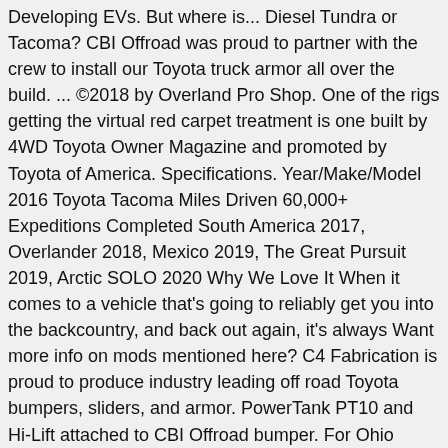Developing EVs. But where is... Diesel Tundra or Tacoma? CBI Offroad was proud to partner with the crew to install our Toyota truck armor all over the build. ... ©2018 by Overland Pro Shop. One of the rigs getting the virtual red carpet treatment is one built by 4WD Toyota Owner Magazine and promoted by Toyota of America. Specifications. Year/Make/Model 2016 Toyota Tacoma Miles Driven 60,000+ Expeditions Completed South America 2017, Overlander 2018, Mexico 2019, The Great Pursuit 2019, Arctic SOLO 2020 Why We Love It When it comes to a vehicle that's going to reliably get you into the backcountry, and back out again, it's always Want more info on mods mentioned here? C4 Fabrication is proud to produce industry leading off road Toyota bumpers, sliders, and armor. PowerTank PT10 and Hi-Lift attached to CBI Offroad bumper. For Ohio native Mark Krumme an opportunity to ride motorcycles, race cars, and experience what California had to offer became too good to pass up. This Tacoma TRD Off-Road is Daily Driven and Built for the Road. It sounded really good! This is a 2018 Toyota Tacoma TRD Pro built for overlanding. Defconbrix — Overland Tacoma Build